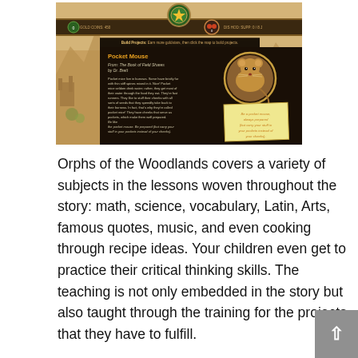[Figure (screenshot): Screenshot of 'Orphs of the Woodlands' educational game showing a fantasy map background with a Pocket Mouse lesson card. The card includes text from 'The Book of Field Shares by Dr. Brett' describing pocket mice, alongside an image of a mouse in a golden ring and a callout note saying 'Be a pocket mouse, always prepared (but carry your stuff in your pockets instead of your cheeks).']
Orphs of the Woodlands covers a variety of subjects in the lessons woven throughout the story: math, science, vocabulary, Latin, Arts, famous quotes, music, and even cooking through recipe ideas. Your children even get to practice their critical thinking skills. The teaching is not only embedded in the story but also taught through the training for the projects that they have to fulfill.